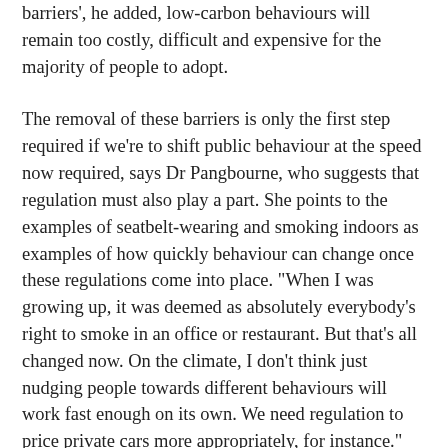barriers', he added, low-carbon behaviours will remain too costly, difficult and expensive for the majority of people to adopt.
The removal of these barriers is only the first step required if we're to shift public behaviour at the speed now required, says Dr Pangbourne, who suggests that regulation must also play a part. She points to the examples of seatbelt-wearing and smoking indoors as examples of how quickly behaviour can change once these regulations come into place. "When I was growing up, it was deemed as absolutely everybody's right to smoke in an office or restaurant. But that's all changed now. On the climate, I don't think just nudging people towards different behaviours will work fast enough on its own. We need regulation to price private cars more appropriately, for instance."
Such regulations are often unpopular with the public and policymakers because the changes are wrongly seen as